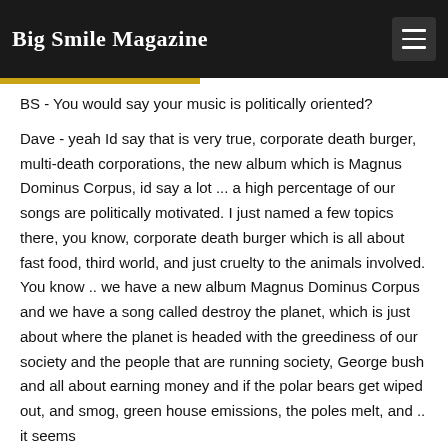Big Smile Magazine
BS - You would say your music is politically oriented?

Dave - yeah Id say that is very true, corporate death burger, multi-death corporations, the new album which is Magnus Dominus Corpus, id say a lot ... a high percentage of our songs are politically motivated. I just named a few topics there, you know, corporate death burger which is all about fast food, third world, and just cruelty to the animals involved. You know .. we have a new album Magnus Dominus Corpus and we have a song called destroy the planet, which is just about where the planet is headed with the greediness of our society and the people that are running society, George bush and all about earning money and if the polar bears get wiped out, and smog, green house emissions, the poles melt, and .. it seems